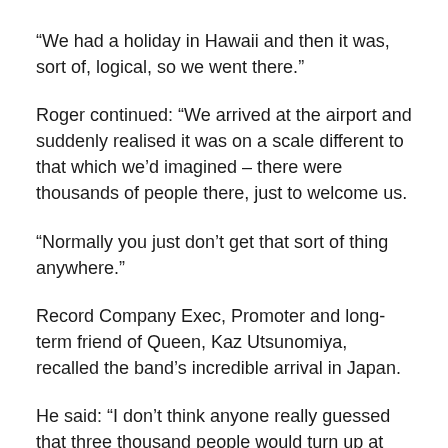“We had a holiday in Hawaii and then it was, sort of, logical, so we went there.”
Roger continued: “We arrived at the airport and suddenly realised it was on a scale different to that which we’d imagined – there were thousands of people there, just to welcome us.
“Normally you just don’t get that sort of thing anywhere.”
Record Company Exec, Promoter and long-term friend of Queen, Kaz Utsunomiya, recalled the band’s incredible arrival in Japan.
He said: “I don’t think anyone really guessed that three thousand people would turn up at the airport.”